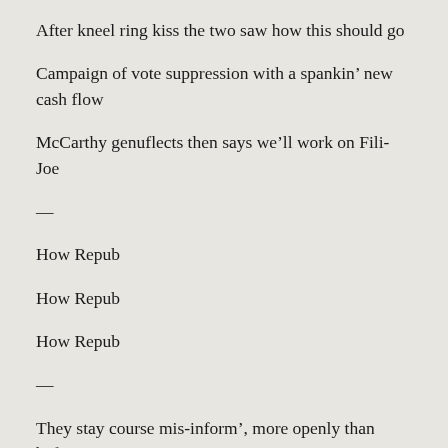After kneel ring kiss the two saw how this should go
Campaign of vote suppression with a spankin’ new cash flow
McCarthy genuflects then says we’ll work on Fili-Joe
—
How Repub
How Repub
How Repub
—
They stay course mis-inform’, more openly than before
First voting then vaccines now, workin’ at death’s door